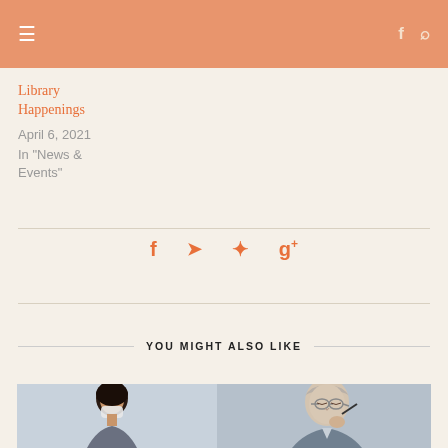≡  f  🔍
Library Happenings
April 6, 2021
In "News & Events"
Social share icons: facebook, twitter, pinterest, google+
YOU MIGHT ALSO LIKE
[Figure (photo): Two people in a consultation setting — a younger woman wearing a face mask and an older man with glasses looking down, appearing to review documents]